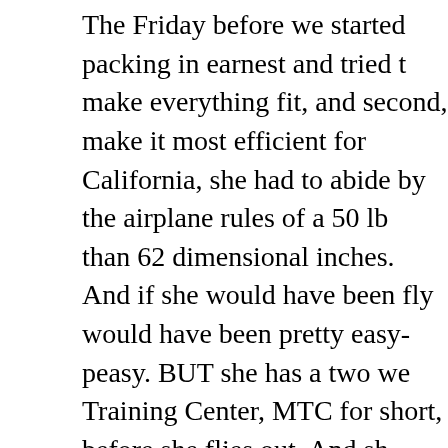The Friday before we started packing in earnest and tried to make everything fit, and second, make it most efficient for California, she had to abide by the airplane rules of a 50 lb than 62 dimensional inches. And if she would have been fly would have been pretty easy-peasy. BUT she has a two we Training Center, MTC for short, before she flies out. And sh would work best for her if we could make everything she w the MTC fit into one suitcase and everything else fit into th for several hours on Sunday helping us figure things out. It organized packing brain to be in the same room with our s – good thing she has a heart of gold and was able to be pa successfully get anything packed, but we got most of the s figured out lots of things that wouldn't work.
Monday morning Blythe left to spend the day with her gran errands and I utilized the time to get the packing thing com interference from her or anyone else. I watched a few pack implementing all my brainstorming ideas that had come in